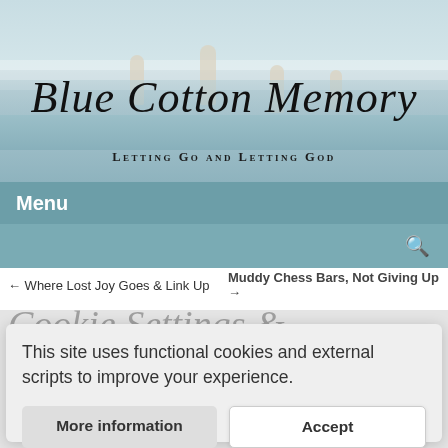[Figure (photo): Header banner with beach family photo background, showing family silhouettes at the beach with ocean and waves visible]
Blue Cotton Memory
Letting Go and Letting God
Menu
[Figure (other): Search bar with magnifying glass icon]
← Where Lost Joy Goes & Link Up
Muddy Chess Bars, Not Giving Up →
Cookie Consent Dialog (partial article title visible behind)
This site uses functional cookies and external scripts to improve your experience.
More information
Accept